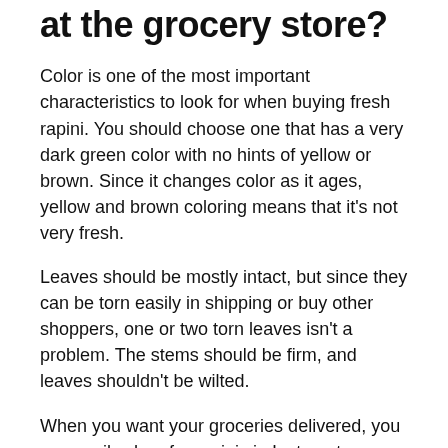at the grocery store?
Color is one of the most important characteristics to look for when buying fresh rapini. You should choose one that has a very dark green color with no hints of yellow or brown. Since it changes color as it ages, yellow and brown coloring means that it's not very fresh.
Leaves should be mostly intact, but since they can be torn easily in shipping or buy other shoppers, one or two torn leaves isn't a problem. The stems should be firm, and leaves shouldn't be wilted.
When you want your groceries delivered, you can easily shop for rapini via Instacart.